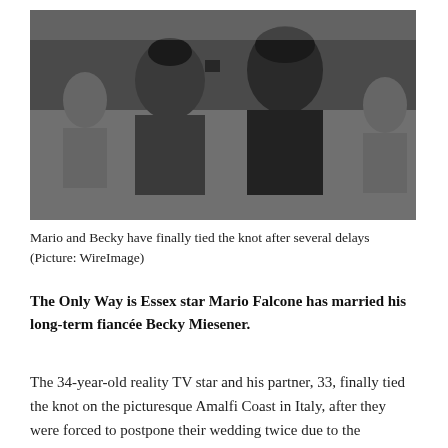[Figure (photo): A man and woman posing together at an event. The woman has dark hair in an updo and the man is wearing a black jacket. Other people are visible in the background.]
Mario and Becky have finally tied the knot after several delays (Picture: WireImage)
The Only Way is Essex star Mario Falcone has married his long-term fiancée Becky Miesener.
The 34-year-old reality TV star and his partner, 33, finally tied the knot on the picturesque Amalfi Coast in Italy, after they were forced to postpone their wedding twice due to the